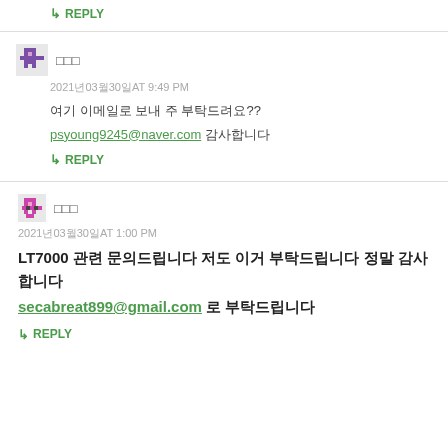↳ REPLY
□□□
2021年03月30日AT 9:49 PM
여기 이메일로 보내 주 부탁드려요??
psyoung9245@naver.com 감사합니다
↳ REPLY
□□□
2021年03月30日AT 1:00 PM
LT7000 관련 문의드립니다 저도 이거 부탁드립니다 정말 감사합니다
secabreat899@gmail.com 로 부탁드립니다
↳ REPLY